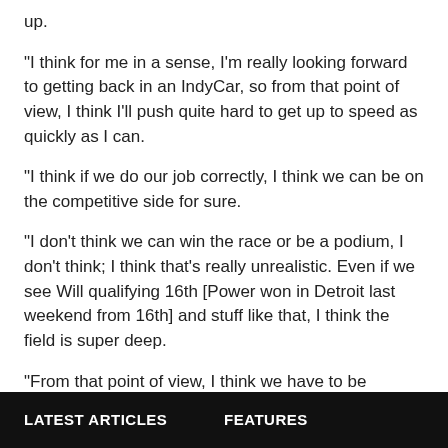up.
“I think for me in a sense, I’m really looking forward to getting back in an IndyCar, so from that point of view, I think I’ll push quite hard to get up to speed as quickly as I can.
“I think if we do our job correctly, I think we can be on the competitive side for sure.
“I don’t think we can win the race or be a podium, I don’t think; I think that’s really unrealistic. Even if we see Will qualifying 16th [Power won in Detroit last weekend from 16th] and stuff like that, I think the field is super deep.
“From that point of view, I think we have to be realistic. We just need to do our job correctly and just kind of keep chipping away at it, finishing the race.
LATEST ARTICLES    FEATURES